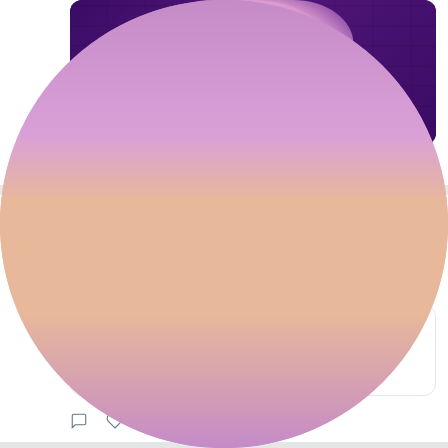[Figure (photo): Partial tweet card showing a photo of a person with pink/purple hair against a purple brick wall background, with comment (1) and like (17) action counts]
1   17 (comment and like counts)
[Figure (photo): Twitter avatar - person with pink/purple hair]
Wɛlchy ... @Nocturnal... · Aug 25
Just posted a photo
instagram.com/p/ChrmEu3qCs3/...
instagram.com
Wɛlchy ✨
(@nocturnalwenchy) • ...
Wɛlchy ... @Nocturnal... · Aug 25
Just posted a photo @ Hair Experts
Lindon instagram.com/p/ChpShShKuhn/...